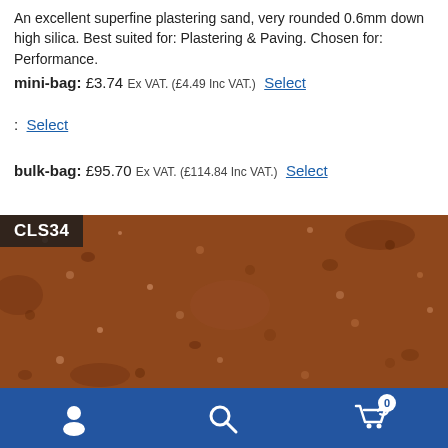An excellent superfine plastering sand, very rounded 0.6mm down high silica. Best suited for: Plastering & Paving. Chosen for: Performance.
mini-bag: £3.74 Ex VAT. (£4.49 Inc VAT.) Select
: Select
bulk-bag: £95.70 Ex VAT. (£114.84 Inc VAT.) Select
[Figure (photo): Close-up photo of reddish-brown superfine plastering sand with product label CLS34 in top left corner]
Navigation bar with user icon, search icon, and cart icon (0 items)